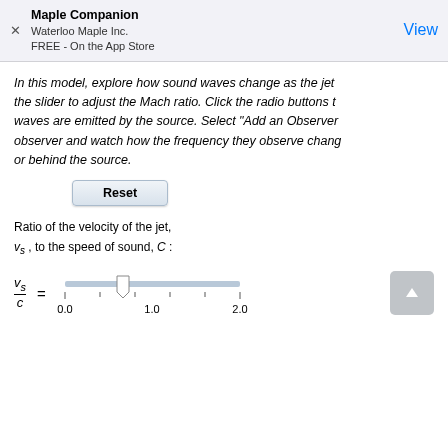Maple Companion
Waterloo Maple Inc.
FREE - On the App Store
View
In this model, explore how sound waves change as the jet the slider to adjust the Mach ratio. Click the radio buttons t waves are emitted by the source. Select "Add an Observer observer and watch how the frequency they observe chang or behind the source.
[Figure (screenshot): Reset button]
Ratio of the velocity of the jet, v_s , to the speed of sound, C :
[Figure (other): Slider showing v_s / C = with scale from 0.0 to 2.0, handle positioned near 0.5]